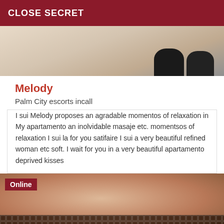CLOSE SECRET
[Figure (photo): Top portion of a photo showing legs/feet with black heels on white fabric background]
Melody
Palm City escorts incall
I sui Melody proposes an agradable momentos of relaxation in My apartamento an inolvidable masaje etc. momentsos of relaxation I sui la for you satifaire I sui a very beautiful refined woman etc soft. I wait for you in a very beautiful apartamento deprived kisses
[Figure (photo): Photo of a person with skin visible, wearing fishnet/mesh clothing at the bottom, with an Online badge overlay]